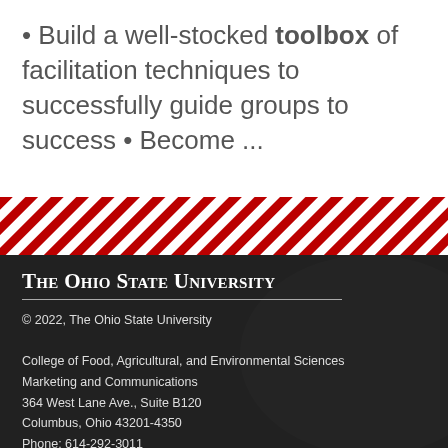Build a well-stocked toolbox of facilitation techniques to successfully guide groups to success • Become ...
[Figure (illustration): Diagonal red and white stripe decorative band]
The Ohio State University
© 2022, The Ohio State University
College of Food, Agricultural, and Environmental Sciences
Marketing and Communications
364 West Lane Ave., Suite B120
Columbus, Ohio 43201-4350
Phone: 614-292-3011